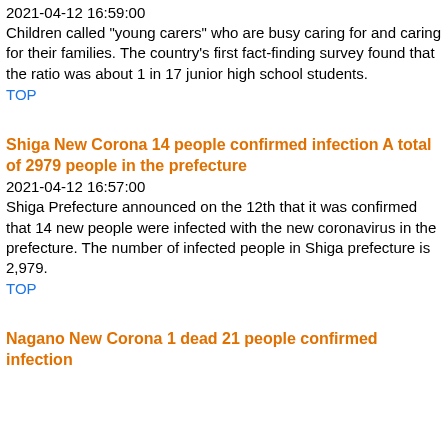2021-04-12 16:59:00
Children called "young carers" who are busy caring for and caring for their families. The country's first fact-finding survey found that the ratio was about 1 in 17 junior high school students.
TOP
Shiga New Corona 14 people confirmed infection A total of 2979 people in the prefecture
2021-04-12 16:57:00
Shiga Prefecture announced on the 12th that it was confirmed that 14 new people were infected with the new coronavirus in the prefecture. The number of infected people in Shiga prefecture is 2,979.
TOP
Nagano New Corona 1 dead 21 people confirmed infection